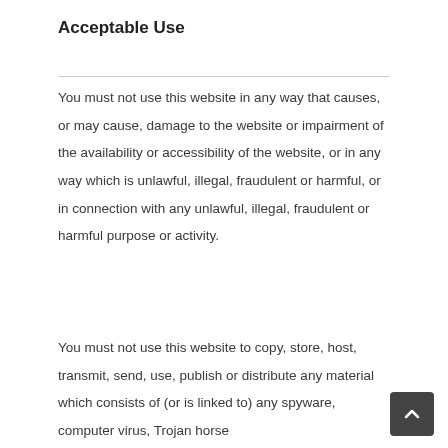Acceptable Use
You must not use this website in any way that causes, or may cause, damage to the website or impairment of the availability or accessibility of the website, or in any way which is unlawful, illegal, fraudulent or harmful, or in connection with any unlawful, illegal, fraudulent or harmful purpose or activity.
You must not use this website to copy, store, host, transmit, send, use, publish or distribute any material which consists of (or is linked to) any spyware, computer virus, Trojan horse